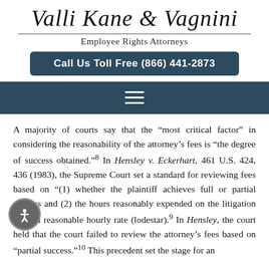Valli Kane & Vagnini
Employee Rights Attorneys
Call Us Toll Free (866) 441-2873
A majority of courts say that the “most critical factor” in considering the reasonability of the attorney’s fees is “the degree of success obtained.”⁸ In Hensley v. Eckerhart, 461 U.S. 424, 436 (1983), the Supreme Court set a standard for reviewing fees based on “(1) whether the plaintiff achieves full or partial success and (2) the hours reasonably expended on the litigation times a reasonable hourly rate (lodestar).⁹ In Hensley, the court held that the court failed to review the attorney’s fees based on “partial success.”¹⁰ This precedent set the stage for an